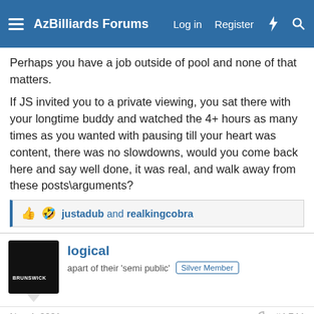AzBilliards Forums | Log in | Register
Perhaps you have a job outside of pool and none of that matters.
If JS invited you to a private viewing, you sat there with your longtime buddy and watched the 4+ hours as many times as you wanted with pausing till your heart was content, there was no slowdowns, would you come back here and say well done, it was real, and walk away from these posts\arguments?
justadub and realkingcobra
logical
apart of their 'semi public'
Silver Member
Nov 4, 2021
#4,744
puma122 said:
LOL. Thanks for the response. Congratulations on your achievements. In my opinion, from what I have read through some of